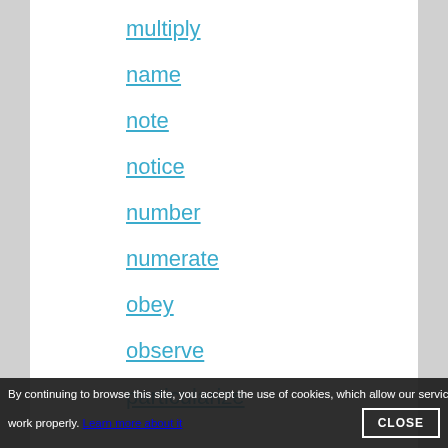multiply
name
note
notice
number
numerate
obey
observe
particularize
pay attention
By continuing to browse this site, you accept the use of cookies, which allow our services work properly. Learn more about it CLOSE